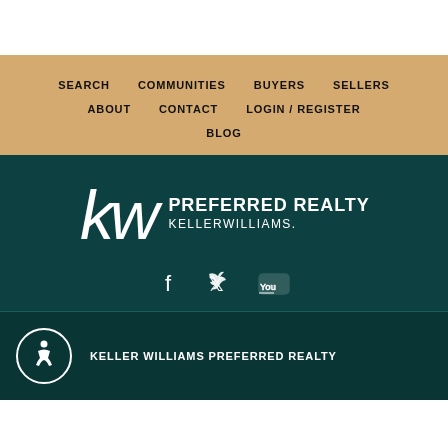SEARCH
COMMUNITIES
BUYERS
SELLERS
ABOUT
CONTACT
LOGIN / REGISTER
BLOG
[Figure (logo): KW Preferred Realty Keller Williams logo in white on dark teal background]
[Figure (other): Social media icons: Facebook, Twitter, YouTube]
KELLER WILLIAMS PREFERRED REALTY